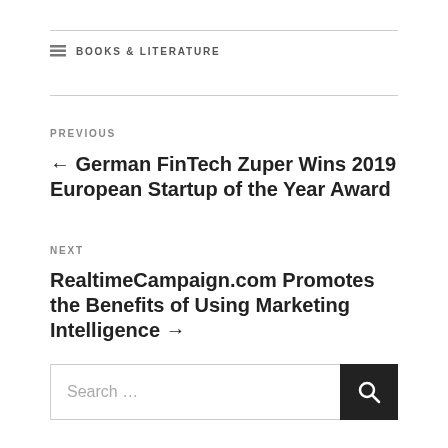BOOKS & LITERATURE
PREVIOUS
← German FinTech Zuper Wins 2019 European Startup of the Year Award
NEXT
RealtimeCampaign.com Promotes the Benefits of Using Marketing Intelligence →
Search …